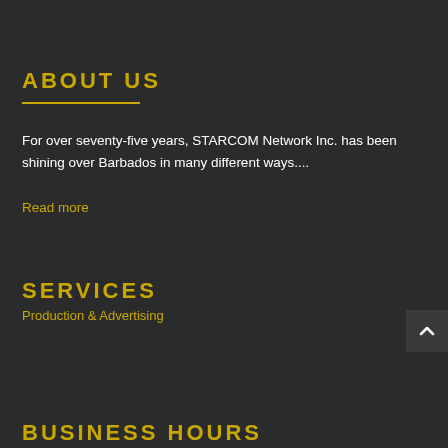ABOUT US
For over seventy-five years, STARCOM Network Inc. has been shining over Barbados in many different ways....
Read more
SERVICES
Production & Advertising
BUSINESS HOURS